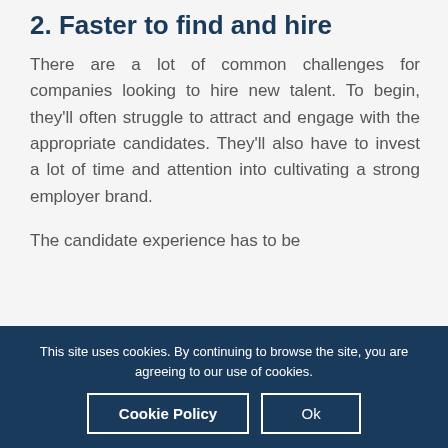2. Faster to find and hire
There are a lot of common challenges for companies looking to hire new talent. To begin, they'll often struggle to attract and engage with the appropriate candidates. They'll also have to invest a lot of time and attention into cultivating a strong employer brand.
The candidate experience has to be
This site uses cookies. By continuing to browse the site, you are agreeing to our use of cookies.
Cookie Policy
Ok